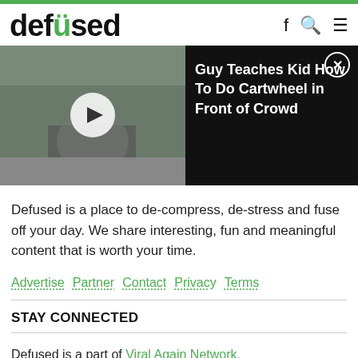defused
[Figure (screenshot): Video thumbnail showing a person doing a cartwheel in front of a crowd in a city square, with a play button overlay. Beside the thumbnail is a black panel titled 'Guy Teaches Kid How To Do Cartwheel in Front of Crowd' with a close button.]
Defused is a place to de-compress, de-stress and fuse off your day. We share interesting, fun and meaningful content that is worth your time.
Advertise  Partner  Contact  Privacy  Terms
STAY CONNECTED
Defused is a part of Viral Again Network.